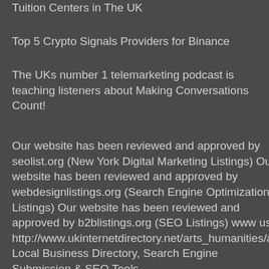Tuition Centers in The UK
Top 5 Crypto Signals Providers for Binance
The UKs number 1 telemarketing podcast is teaching listeners about Making Conversations Count!
Our website has been reviewed and approved by seolist.org (New York Digital Marketing Listings) Our website has been reviewed and approved by webdesignlistings.org (Search Engine Optimization Listings) Our website has been reviewed and approved by b2blistings.org (SEO Listings) www usa http://www.ukinternetdirectory.net/arts_humanities/artists/ Local Business Directory, Search Engine Submission & SEO Tools sitepromotionsdirectory.com latest-links